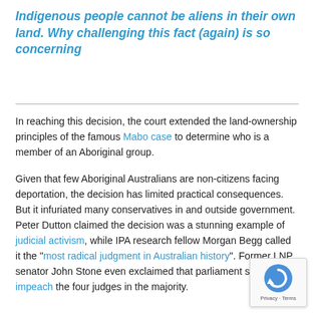Indigenous people cannot be aliens in their own land. Why challenging this fact (again) is so concerning
In reaching this decision, the court extended the land-ownership principles of the famous Mabo case to determine who is a member of an Aboriginal group.
Given that few Aboriginal Australians are non-citizens facing deportation, the decision has limited practical consequences. But it infuriated many conservatives in and outside government. Peter Dutton claimed the decision was a stunning example of judicial activism, while IPA research fellow Morgan Begg called it the "most radical judgment in Australian history". Former LNP senator John Stone even exclaimed that parliament should impeach the four judges in the majority.